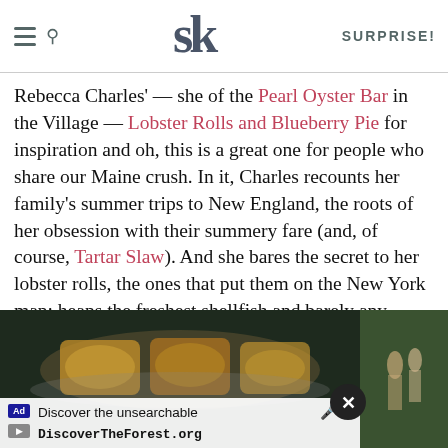SK — SURPRISE!
Rebecca Charles' — she of the Pearl Oyster Bar in the Village — Lobster Rolls and Blueberry Pie for inspiration and oh, this is a great one for people who share our Maine crush. In it, Charles recounts her family's summer trips to New England, the roots of her obsession with their summery fare (and, of course, Tartar Slaw). And she bares the secret to her lobster rolls, the ones that put them on the New York map: heaps the freshest shellfish and barely any clutter from extra ingredients, all on a buttery, toasted bun.
[Figure (photo): Photo of lobster rolls on a plate, with an advertisement banner overlay reading 'Discover the unsearchable / DiscoverTheForest.org' and a close button. Right side shows outdoor forest scene with people.]